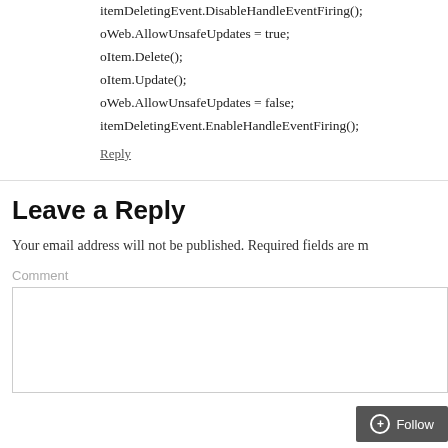itemDeletingEvent.DisableHandleEventFiring();
oWeb.AllowUnsafeUpdates = true;
oItem.Delete();
oItem.Update();
oWeb.AllowUnsafeUpdates = false;
itemDeletingEvent.EnableHandleEventFiring();
Reply
Leave a Reply
Your email address will not be published. Required fields are m
Comment